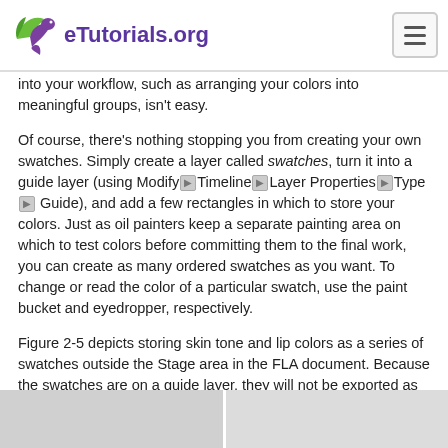eTutorials.org
into your workflow, such as arranging your colors into meaningful groups, isn't easy.
Of course, there's nothing stopping you from creating your own swatches. Simply create a layer called swatches, turn it into a guide layer (using Modify▶Timeline▶Layer Properties▶Type▶Guide), and add a few rectangles in which to store your colors. Just as oil painters keep a separate painting area on which to test colors before committing them to the final work, you can create as many ordered swatches as you want. To change or read the color of a particular swatch, use the paint bucket and eyedropper, respectively.
Figure 2-5 depicts storing skin tone and lip colors as a series of swatches outside the Stage area in the FLA document. Because the swatches are on a guide layer, they will not be exported as part of the final SWF.
Figure 2-5. Storing custom swatches off stage in a guide layer
[Figure (screenshot): Screenshot showing the Flash FLA document with swatches stored off stage in a guide layer, partially visible at bottom of page]